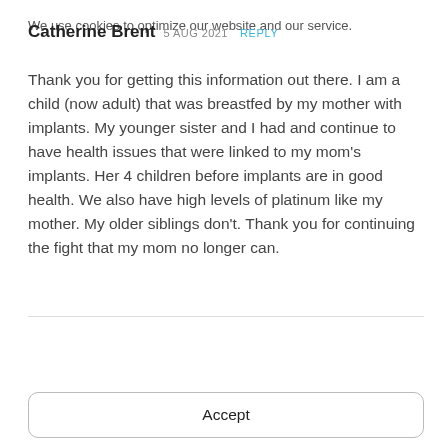Catherine Brent 5 AUG 2021 REPLY
Thank you for getting this information out there. I am a child (now adult) that was breastfed by my mother with implants. My younger sister and I had and continue to have health issues that were linked to my mom’s implants. Her 4 children before implants are in good health. We also have high levels of platinum like my mother. My older siblings don’t. Thank you for continuing the fight that my mom no longer can.
We use cookies to optimize our website and our service.
Accept